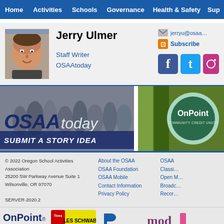Home | Activities | Schools | Governance | Health & Safety | Sup...
[Figure (screenshot): Profile photo of Jerry Ulmer, a man smiling]
Jerry Ulmer
Staff Writer
OSAAtoday
jerryu@osaa...
Subscribe
[Figure (logo): OSAAtoday Submit a Story Idea banner with athletes in background]
[Figure (logo): OnPoint Community Credit Union advertisement banner]
© 2022 Oregon School Activities Association
25200 SW Parkway Avenue Suite 1
Wilsonville, OR 97070

SERVER-2020.2
About the OSAA
OSAA Foundation
OSAA Mobile
Contact Information
Privacy Policy
OSAA
Classi...
Open M...
Broadc...
Recor...
[Figure (logo): OnPoint Community Credit Union logo]
[Figure (logo): Les Schwab Tires logo]
[Figure (logo): Pacific Office Automation logo]
[Figure (logo): Moda Health logo (partially visible)]